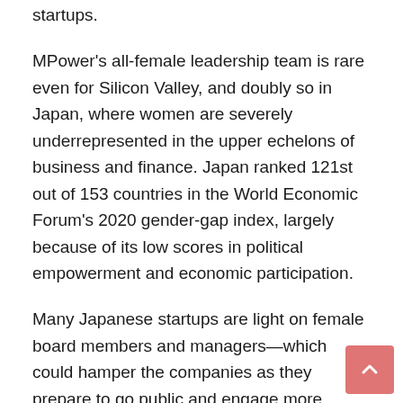startups.
MPower's all-female leadership team is rare even for Silicon Valley, and doubly so in Japan, where women are severely underrepresented in the upper echelons of business and finance. Japan ranked 121st out of 153 countries in the World Economic Forum's 2020 gender-gap index, largely because of its low scores in political empowerment and economic participation.
Many Japanese startups are light on female board members and managers—which could hamper the companies as they prepare to go public and engage more broadly with investors and other businesses internationally, MPower's partners said.